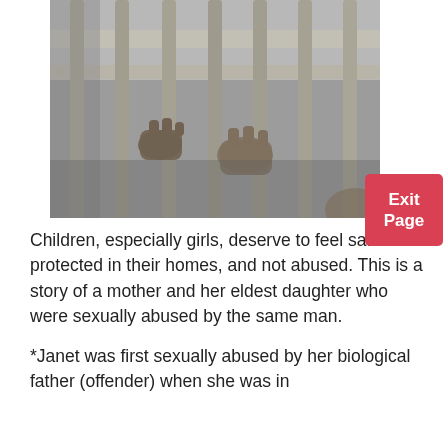[Figure (photo): Black and white photograph of hands gripping jail cell bars]
Children, especially girls, deserve to feel safe and protected in their homes, and not abused. This is a story of a mother and her eldest daughter who were sexually abused by the same man.
*Janet was first sexually abused by her biological father (offender) when she was in